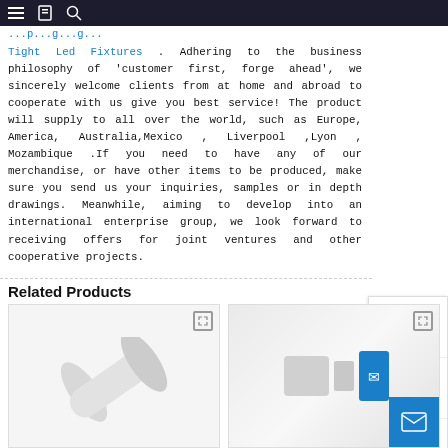Navigation bar with menu, bookmark, and search icons
Tight Led Fixtures . Adhering to the business philosophy of 'customer first, forge ahead', we sincerely welcome clients from at home and abroad to cooperate with us give you best service! The product will supply to all over the world, such as Europe, America, Australia,Mexico , Liverpool ,Lyon , Mozambique .If you need to have any of our merchandise, or have other items to be produced, make sure you send us your inquiries, samples or in depth drawings. Meanwhile, aiming to develop into an international enterprise group, we look forward to receiving offers for joint ventures and other cooperative projects.
Related Products
[Figure (photo): Product image of a white LED fixture tube/strip light]
[Figure (photo): Product image showing LED fixture components]